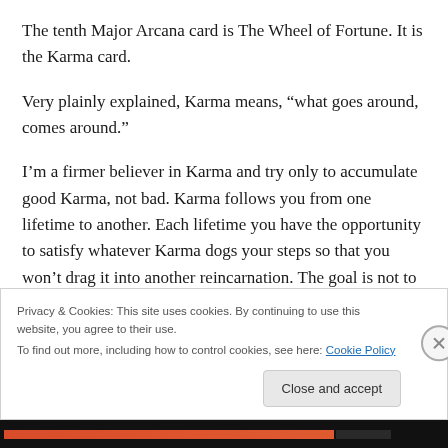The tenth Major Arcana card is The Wheel of Fortune. It is the Karma card.
Very plainly explained, Karma means, “what goes around, comes around.”
I’m a firmer believer in Karma and try only to accumulate good Karma, not bad. Karma follows you from one lifetime to another. Each lifetime you have the opportunity to satisfy whatever Karma dogs your steps so that you won’t drag it into another reincarnation. The goal is not to rack
Privacy & Cookies: This site uses cookies. By continuing to use this website, you agree to their use.
To find out more, including how to control cookies, see here: Cookie Policy
Close and accept